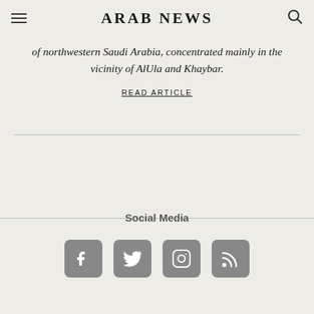ARAB NEWS
of northwestern Saudi Arabia, concentrated mainly in the vicinity of AlUla and Khaybar.
READ ARTICLE
Social Media
[Figure (infographic): Social media icons: Facebook, Twitter, Instagram, RSS feed]